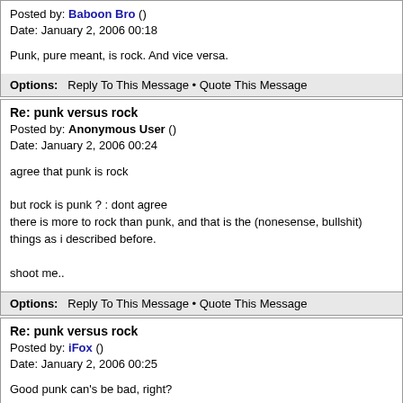Posted by: Baboon Bro ()
Date: January 2, 2006 00:18

Punk, pure meant, is rock. And vice versa.
Options: Reply To This Message • Quote This Message
Re: punk versus rock
Posted by: Anonymous User ()
Date: January 2, 2006 00:24

agree that punk is rock

but rock is punk ? : dont agree
there is more to rock than punk, and that is the (nonesense, bullshit) things as i described before.

shoot me..
Options: Reply To This Message • Quote This Message
Re: punk versus rock
Posted by: iFox ()
Date: January 2, 2006 00:25

Good punk can's be bad, right?

Lou Reed who is said to be one of the godfathers of punk never wanted to be connected with punk performers. He used to make jokes of punks like "find at least one punk who can use communicative English!"